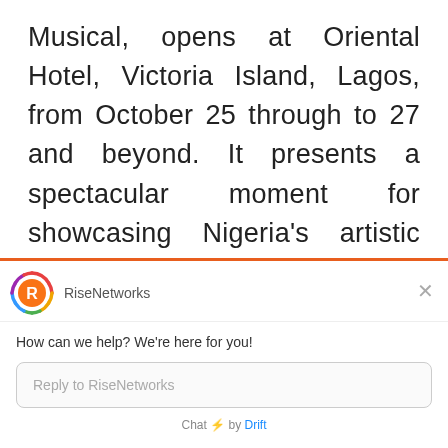Musical, opens at Oriental Hotel, Victoria Island, Lagos, from October 25 through to 27 and beyond. It presents a spectacular moment for showcasing Nigeria's artistic prowess to the world. When, some years ago some South Africans brought Umoja, essentially scantily dressed women dancing on stage, a production with dubious cultural value, Nigeria's
[Figure (screenshot): RiseNetworks chat widget overlay with logo, greeting message 'How can we help? We're here for you!', reply input box, and 'Chat by Drift' footer]